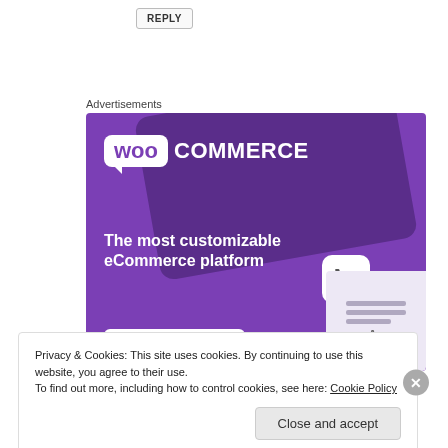REPLY
Advertisements
[Figure (illustration): WooCommerce advertisement banner with purple background, WooCommerce logo, tagline 'The most customizable eCommerce platform', a shopping cart icon, and a 'Start a new store' button.]
Privacy & Cookies: This site uses cookies. By continuing to use this website, you agree to their use.
To find out more, including how to control cookies, see here: Cookie Policy
Close and accept